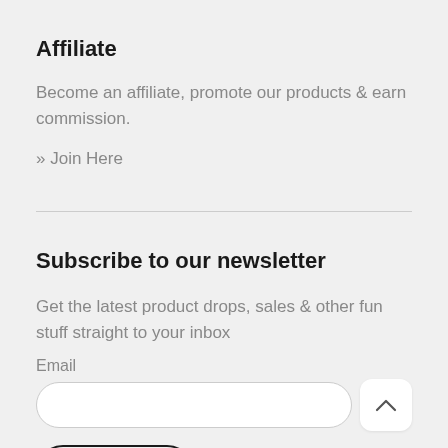Affiliate
Become an affiliate, promote our products & earn commission.
» Join Here
Subscribe to our newsletter
Get the latest product drops, sales & other fun stuff straight to your inbox
Email
Subscribe